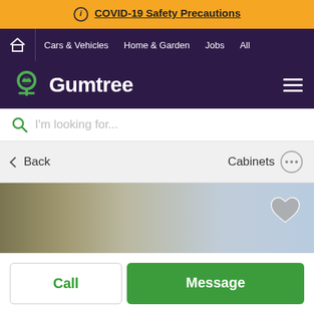COVID-19 Safety Precautions
Cars & Vehicles  Home & Garden  Jobs  All
Gumtree
I'm looking for...
Back  Cabinets
[Figure (photo): Product image showing cabinets with a heart/favorite icon overlay]
Call
Message
Posted by: WEED ANGEL'S GARDEN